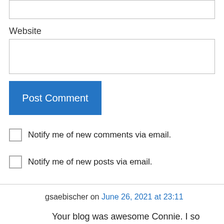Website
Post Comment
Notify me of new comments via email.
Notify me of new posts via email.
gsaebischer on June 26, 2021 at 23:11
Your blog was awesome Connie. I so enjoyed reading it. Todd is not the only one who has the gift for writing. Glad all is well and you will soon